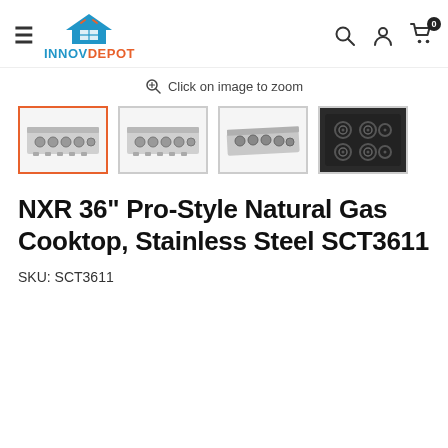INNOVDEPOT
Click on image to zoom
[Figure (photo): Four thumbnail images of NXR 36-inch Pro-Style Natural Gas Cooktop in stainless steel from different angles; first thumbnail is selected with orange border]
NXR 36" Pro-Style Natural Gas Cooktop, Stainless Steel SCT3611
SKU: SCT3611